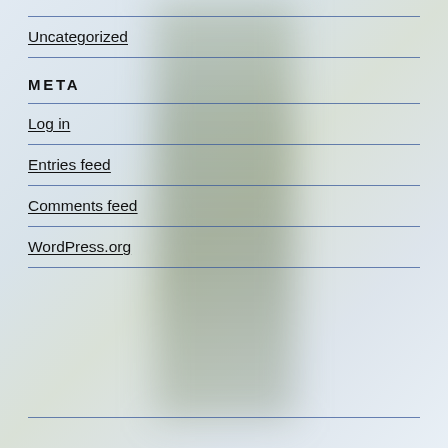Uncategorized
META
Log in
Entries feed
Comments feed
WordPress.org